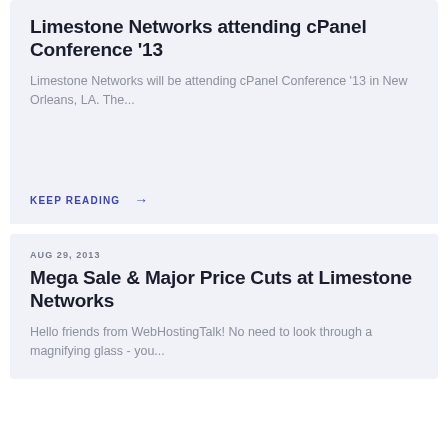Limestone Networks attending cPanel Conference '13
Limestone Networks will be attending cPanel Conference '13 in New Orleans, LA. The...
KEEP READING →
AUG 29, 2013
Mega Sale & Major Price Cuts at Limestone Networks
Hello friends from WebHostingTalk! No need to look through a magnifying glass - you...